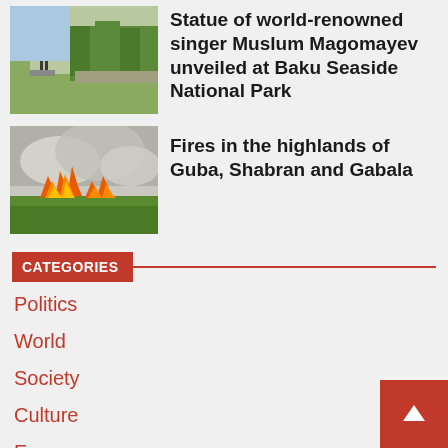[Figure (photo): Statue of a person in a park with trees and road in background]
Statue of world-renowned singer Muslum Magomayev unveiled at Baku Seaside National Park
[Figure (photo): Fire and smoke in a grassy highland field]
Fires in the highlands of Guba, Shabran and Gabala
CATEGORIES
Politics
World
Society
Culture
Energy
Economy